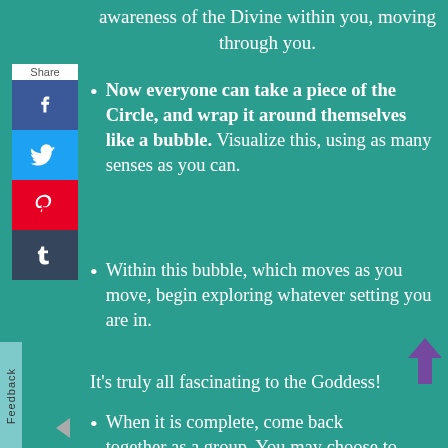awareness of the Divine within you, moving through you.
[Figure (infographic): Social share panel with Facebook, Twitter, Pinterest, Tumblr buttons and Share label]
Now everyone can take a piece of the Circle, and wrap it around themselves like a bubble. Visualize this, using as many senses as you can.
[Figure (infographic): Feedback tab on left side]
Within this bubble, which moves as you move, begin exploring whatever setting you are in.
It's truly all fascinating to the Goddess!
When it is complete, come back together as a group. You may choose to open your personal bubbles, and rejoin them to
[Figure (infographic): Purple upward arrow button on right side]